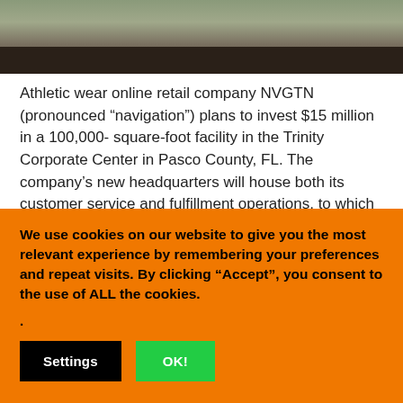[Figure (photo): Aerial or overhead view of a large paved area with palm trees and vehicles, appearing to be a parking lot or commercial facility exterior.]
Athletic wear online retail company NVGTN (pronounced “navigation”) plans to invest $15 million in a 100,000- square-foot facility in the Trinity Corporate Center in Pasco County, FL. The company’s new headquarters will house both its customer service and fulfillment operations, to which it will add at least 30 new full-time positions.
We use cookies on our website to give you the most relevant experience by remembering your preferences and repeat visits. By clicking “Accept”, you consent to the use of ALL the cookies.
.
Settings    OK!